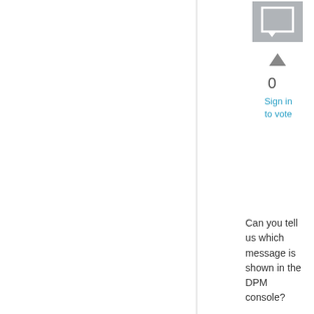[Figure (illustration): User avatar icon (grey square with chat bubble symbol)]
[Figure (illustration): Upvote arrow triangle pointing up, grey]
0
Sign in to vote
Can you tell us which message is shown in the DPM console?

That could help us troubleshoot your problem.
Monday, March 19, 2012 2:27 PM
[Figure (illustration): User avatar icon (grey square with chat bubble symbol) - second instance]
[Figure (illustration): Upvote arrow triangle pointing up, grey - second instance]